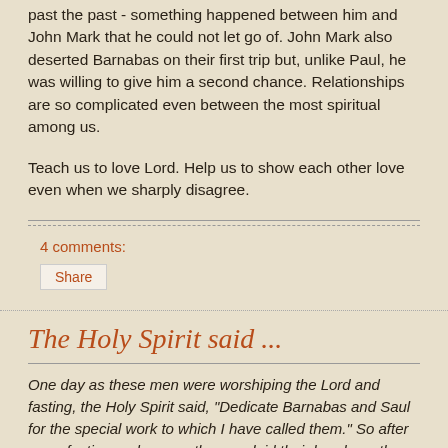past the past - something happened between him and John Mark that he could not let go of. John Mark also deserted Barnabas on their first trip but, unlike Paul, he was willing to give him a second chance. Relationships are so complicated even between the most spiritual among us.
Teach us to love Lord. Help us to show each other love even when we sharply disagree.
4 comments:
Share
The Holy Spirit said ...
One day as these men were worshiping the Lord and fasting, the Holy Spirit said, “Dedicate Barnabas and Saul for the special work to which I have called them.” So after more fasting and prayer, the men laid their hands on them and